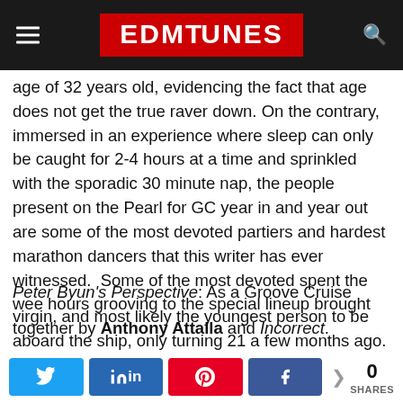EDMTUNES
age of 32 years old, evidencing the fact that age does not get the true raver down. On the contrary, immersed in an experience where sleep can only be caught for 2-4 hours at a time and sprinkled with the sporadic 30 minute nap, the people present on the Pearl for GC year in and year out are some of the most devoted partiers and hardest marathon dancers that this writer has ever witnessed.  Some of the most devoted spent the wee hours grooving to the special lineup brought together by Anthony Attalla and Incorrect.
Peter Byun's Perspective: As a Groove Cruise virgin, and most likely the youngest person to be aboard the ship, only turning 21 a few months ago. I had no idea what to expect on this expedition.
Share buttons: Twitter, LinkedIn, Pinterest, Facebook | 0 SHARES